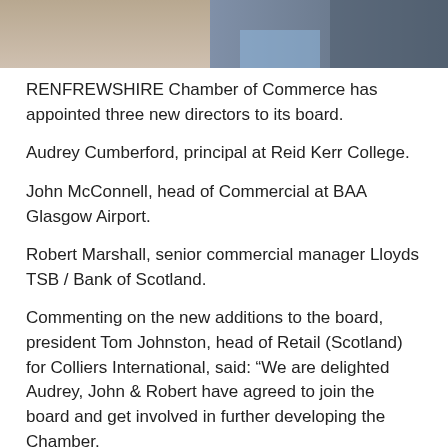[Figure (photo): Partial photo of two people in suits at the top of the page]
RENFREWSHIRE Chamber of Commerce has appointed three new directors to its board.
Audrey Cumberford, principal at Reid Kerr College.
John McConnell, head of Commercial at BAA Glasgow Airport.
Robert Marshall, senior commercial manager Lloyds TSB / Bank of Scotland.
Commenting on the new additions to the board, president Tom Johnston, head of Retail (Scotland) for Colliers International, said: “We are delighted Audrey, John & Robert have agreed to join the board and get involved in further developing the Chamber.
“2010 has been a great year for the Chamber and with their support 2011 and beyond will be even stronger.
“Membership is at a high, finances are strong and the team led by chief executive, Bob Davidson, are doing a great job.